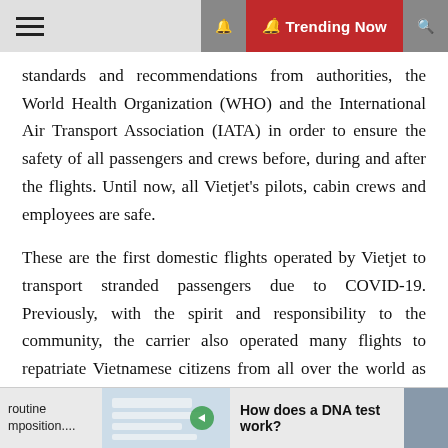≡  🔔 Trending Now 🔍
standards and recommendations from authorities, the World Health Organization (WHO) and the International Air Transport Association (IATA) in order to ensure the safety of all passengers and crews before, during and after the flights. Until now, all Vietjet's pilots, cabin crews and employees are safe.
These are the first domestic flights operated by Vietjet to transport stranded passengers due to COVID-19. Previously, with the spirit and responsibility to the community, the carrier also operated many flights to repatriate Vietnamese citizens from all over the world as well as transported thousands of tonnes of essential goods, medical equipment for pandemic prevention.
By the end of July, Vietjet had brought nearly 10,000 Vietnamese citizens home safely from Japan, the [Republic of Korea, Thailand, Singapore, Taiwan (China)...]
routine mposition.... [image] How does a DNA test work? [photo]